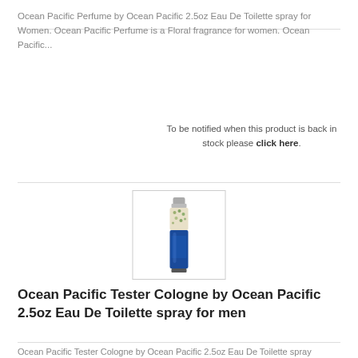Ocean Pacific Perfume by Ocean Pacific 2.5oz Eau De Toilette spray for Women. Ocean Pacific Perfume is a Floral fragrance for women. Ocean Pacific...
To be notified when this product is back in stock please click here.
[Figure (photo): A tall blue perfume/cologne bottle with a silver cap and decorative pattern on the upper portion.]
Ocean Pacific Tester Cologne by Ocean Pacific 2.5oz Eau De Toilette spray for men
Ocean Pacific Tester Cologne by Ocean Pacific 2.5oz Eau De Toilette spray